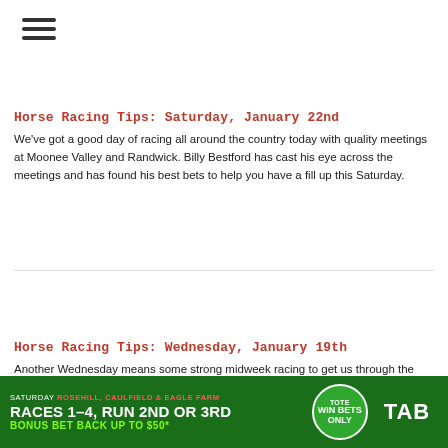[Figure (other): Hamburger menu icon (three horizontal lines)]
Horse Racing Tips: Saturday, January 22nd
We've got a good day of racing all around the country today with quality meetings at Moonee Valley and Randwick. Billy Bestford has cast his eye across the meetings and has found his best bets to help you have a fill up this Saturday.
Horse Racing Tips: Wednesday, January 19th
Another Wednesday means some strong midweek racing to get us through the week. There's meetings at Newcastle and Sandown where we can
[Figure (infographic): TAB advertisement banner: Saturday Rosehill, Caulfield & Eagle Farm - Races 1-4, Run 2nd or 3rd, Tote Win Bets Only, Bonus Bet Back Up To $50*]